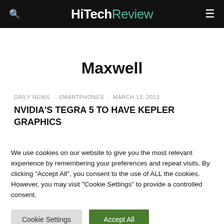HiTechReview
Maxwell
DAILY NEWS · SMARTPHONES · MARCH 13, 2013
NVIDIA'S TEGRA 5 TO HAVE KEPLER GRAPHICS
We use cookies on our website to give you the most relevant experience by remembering your preferences and repeat visits. By clicking "Accept All", you consent to the use of ALL the cookies. However, you may visit "Cookie Settings" to provide a controlled consent.
Cookie Settings | Accept All